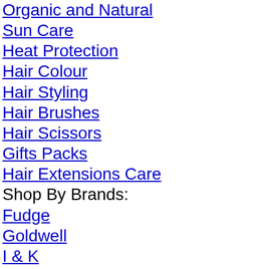Organic and Natural
Sun Care
Heat Protection
Hair Colour
Hair Styling
Hair Brushes
Hair Scissors
Gifts Packs
Hair Extensions Care
Shop By Brands:
Fudge
Goldwell
I & K
Joico
L'Oreal Professionnel
Label.m
Lisap TopCare
Macadamia Natural Oil
Matrix
Moroccanoil
Nioxin
Paul Mitchell
Pureology
Redken
Revlon
Sebastion Professionnel